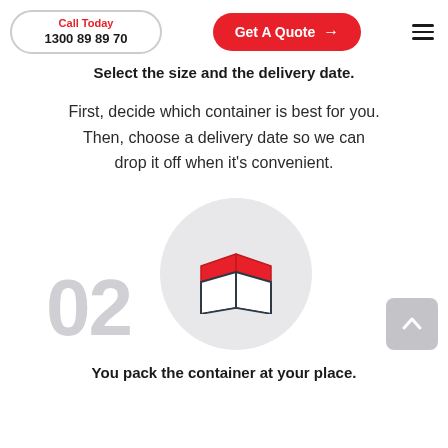Call Today 1300 89 89 70 | Get A Quote →
Select the size and the delivery date.
First, decide which container is best for you. Then, choose a delivery date so we can drop it off when it's convenient.
[Figure (illustration): Step 02 icon: large grey '02' numeral behind a circular light-grey background containing an open cardboard box icon with a red roof/lid and dark outline body.]
You pack the container at your place.